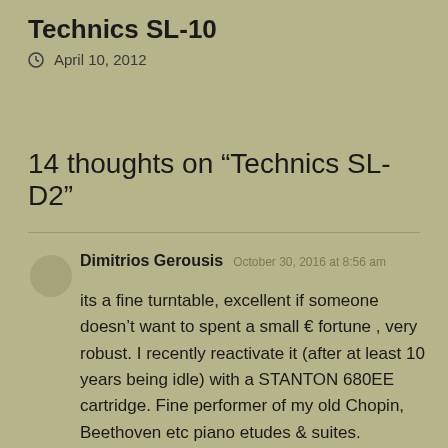Technics SL-10
April 10, 2012
14 thoughts on “Technics SL-D2”
Dimitrios Gerousis  October 30, 2016 at 8:56 am

its a fine turntable, excellent if someone doesn’t want to spent a small € fortune , very robust. I recently reactivate it (after at least 10 years being idle) with a STANTON 680EE cartridge. Fine performer of my old Chopin, Beethoven etc piano etudes & suites. Certainly miles